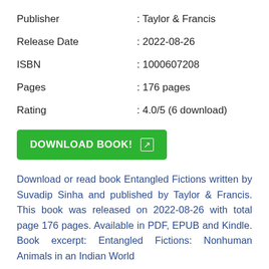Publisher : Taylor & Francis
Release Date : 2022-08-26
ISBN : 1000607208
Pages : 176 pages
Rating : 4.0/5 (6 download)
[Figure (other): Green DOWNLOAD BOOK! button with arrow icon]
Download or read book Entangled Fictions written by Suvadip Sinha and published by Taylor & Francis. This book was released on 2022-08-26 with total page 176 pages. Available in PDF, EPUB and Kindle. Book excerpt: Entangled Fictions: Nonhuman Animals in an Indian World